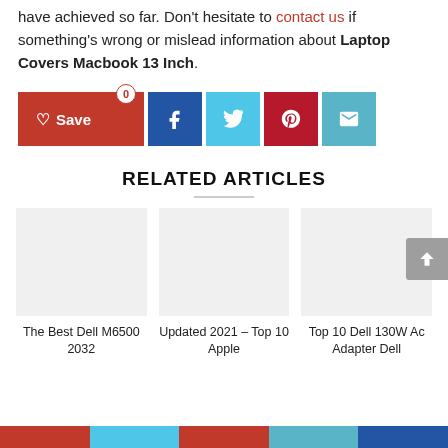have achieved so far. Don't hesitate to contact us if something's wrong or mislead information about Laptop Covers Macbook 13 Inch.
[Figure (other): Social share bar with Save (heart icon, red), Facebook (blue), Twitter (cyan), Pinterest (dark red), Email (teal) buttons]
RELATED ARTICLES
[Figure (other): Three related article cards with placeholder images: 'The Best Dell M6500 2032', 'Updated 2021 - Top 10 Apple', 'Top 10 Dell 130W Ac Adapter Dell']
Social share bottom bar